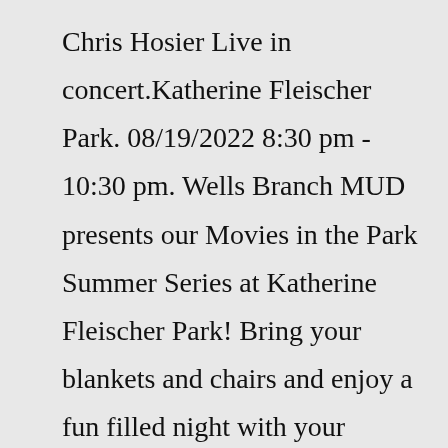Chris Hosier Live in concert.Katherine Fleischer Park. 08/19/2022 8:30 pm - 10:30 pm. Wells Branch MUD presents our Movies in the Park Summer Series at Katherine Fleischer Park! Bring your blankets and chairs and enjoy a fun filled night with your family and neighbors. Admission is free, movie to start at twilight. Concessions will be available for purchase.If you have or know of available